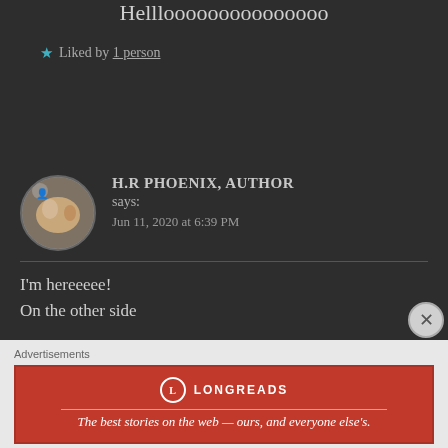Helllooooooooooooooo
★ Liked by 1 person
H.R PHOENIX, AUTHOR says:
Jun 11, 2020 at 6:39 PM
I'm hereeeee!
On the other side
★ Liked by 1 person
Advertisements
[Figure (screenshot): Longreads advertisement banner: red background with Longreads logo and text 'The best stories on the web — ours, and everyone else's.']